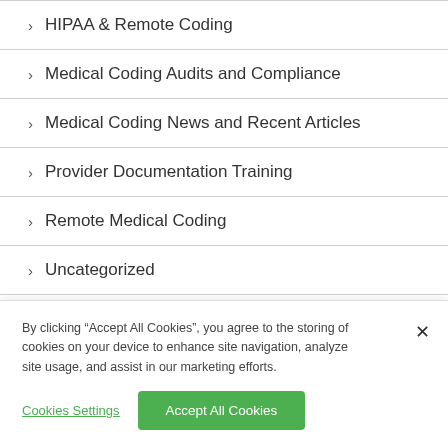HIPAA & Remote Coding
Medical Coding Audits and Compliance
Medical Coding News and Recent Articles
Provider Documentation Training
Remote Medical Coding
Uncategorized
By clicking “Accept All Cookies”, you agree to the storing of cookies on your device to enhance site navigation, analyze site usage, and assist in our marketing efforts.
Cookies Settings
Accept All Cookies